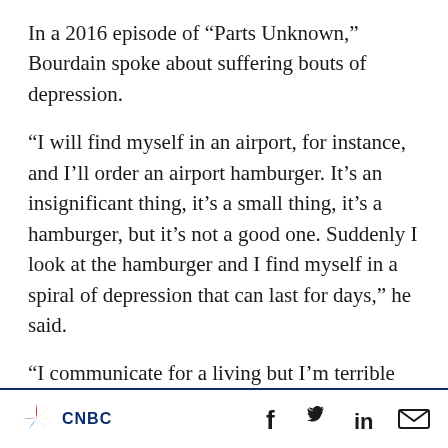In a 2016 episode of “Parts Unknown,” Bourdain spoke about suffering bouts of depression.
“I will find myself in an airport, for instance, and I’ll order an airport hamburger. It’s an insignificant thing, it’s a small thing, it’s a hamburger, but it’s not a good one. Suddenly I look at the hamburger and I find myself in a spiral of depression that can last for days,” he said.
“I communicate for a living but I’m terrible about communicating with people I care about,” he continued. “There’s the evil cheeseburger that
[Figure (logo): CNBC logo with peacock graphic on the left, and social media icons (Facebook, Twitter, LinkedIn, Email) on the right]